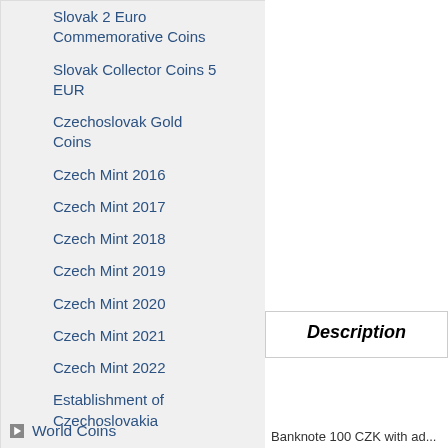Slovak 2 Euro Commemorative Coins
Slovak Collector Coins 5 EUR
Czechoslovak Gold Coins
Czech Mint 2016
Czech Mint 2017
Czech Mint 2018
Czech Mint 2019
Czech Mint 2020
Czech Mint 2021
Czech Mint 2022
Establishment of Czechoslovakia
Paper money
Sold out
World Coins
Themed Coins
Historical Coins
Description
Banknote 100 CZK with ad...